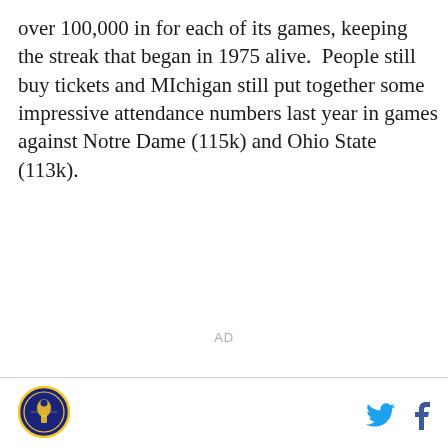over 100,000 in for each of its games, keeping the streak that began in 1975 alive.  People still buy tickets and MIchigan still put together some impressive attendance numbers last year in games against Notre Dame (115k) and Ohio State (113k).
AD
[Figure (logo): Circular logo with blue and gold design, possibly a sports network or publication logo]